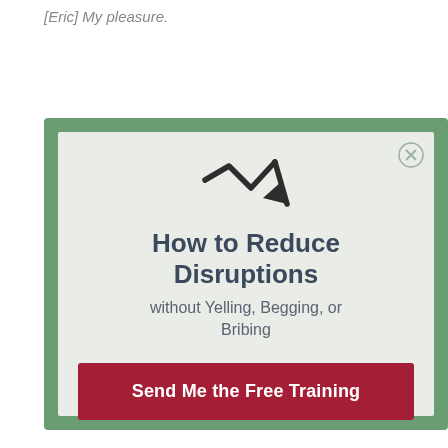[Eric] My pleasure.
[Figure (infographic): Advertisement box with green border, zigzag downward arrow icon, bold title 'How to Reduce Disruptions', subtitle 'without Yelling, Begging, or Bribing', and a dark red button 'Send Me the Free Training']